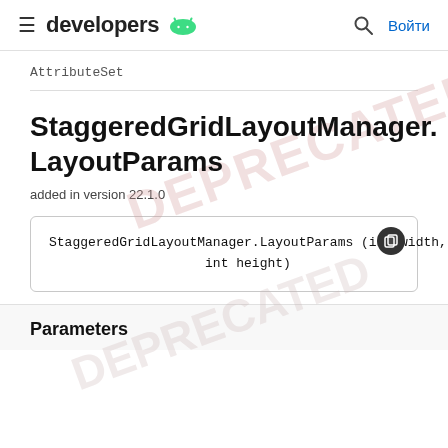developers
AttributeSet
StaggeredGridLayoutManager.LayoutParams
added in version 22.1.0
StaggeredGridLayoutManager.LayoutParams (int width,
                    int height)
Parameters